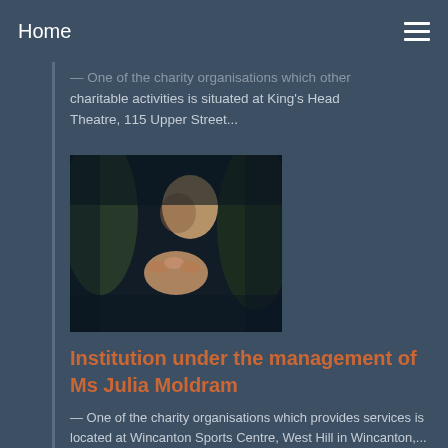Home
— One of the charity organisations which other charitable activities is situated at King's Head Theatre, 115 Upper Street...
[Figure (photo): Two people holding hands in a dark setting, suggesting care or support.]
Institution under the management of Ms Julia Moldram
— One of the charity organisations which provides services is located at Wincanton Sports Centre, West Hill in Wincanton,...